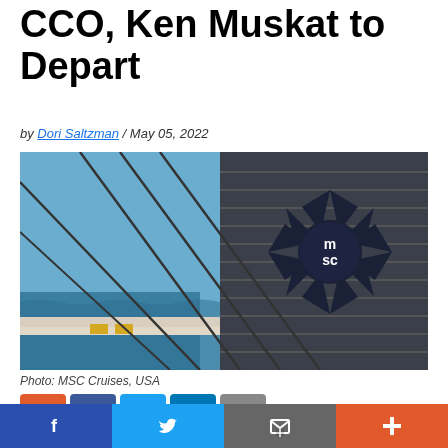CCO, Ken Muskat to Depart
by Dori Saltzman / May 05, 2022
[Figure (photo): MSC Cruises ship deck showing the MSC logo (star/compass emblem) on the funnel, with blue sky and ocean in background.]
Photo: MSC Cruises, USA